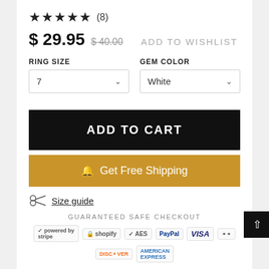★★★★★ (8)
$ 29.95  $ 40.00  ADD TO WISHLIST
RING SIZE
GEM COLOR
7 ∨
White ∨
ADD TO CART
🔔 Get Free Shipping
Size guide
GUARANTEED SAFE CHECKOUT
stripe  shopify  AES  PayPal  VISA  Mastercard  DISCOVER  AMERICAN EXPRESS